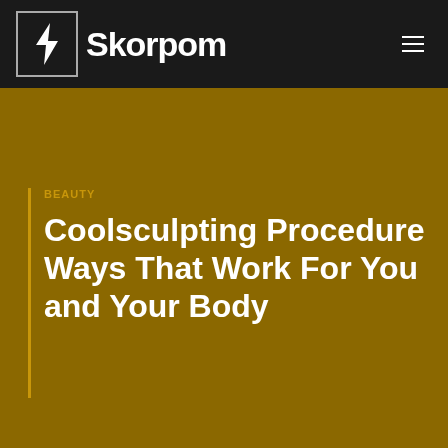Skorpom
BEAUTY
Coolsculpting Procedure Ways That Work For You and Your Body